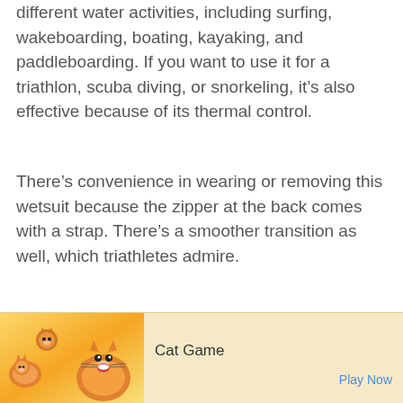different water activities, including surfing, wakeboarding, boating, kayaking, and paddleboarding. If you want to use it for a triathlon, scuba diving, or snorkeling, it's also effective because of its thermal control.
There's convenience in wearing or removing this wetsuit because the zipper at the back comes with a strap. There's a smoother transition as well, which triathletes admire.
Regardless of whether you're in warmer or colder water temperature, you can wear it with full relief because the 3mm-neoprene material effectively traps the water. It prevents the suit from flushing, which so, it doesn't ening
[Figure (other): Advertisement banner for Cat Game mobile app showing cartoon cats on a warm gradient background with 'Ad' label, game title 'Cat Game', and 'Play Now' button]